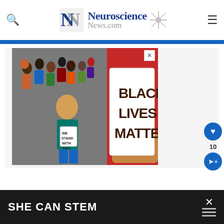Neuroscience News.com
[Figure (illustration): Illustration of protesters holding signs reading 'Black Lives Matter' and 'We Stand With You' with colorful crowd figures in background]
[Figure (advertisement): Bottom advertisement banner with text 'SHE CAN STEM' on dark background]